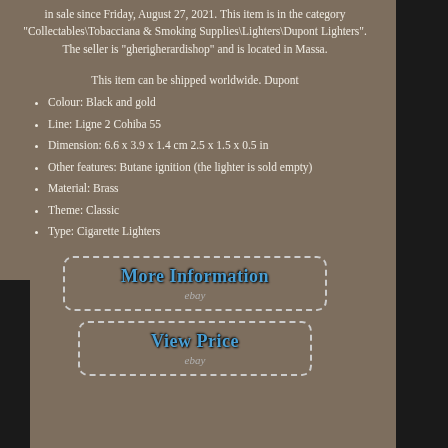in sale since Friday, August 27, 2021. This item is in the category "Collectables\Tobacciana & Smoking Supplies\Lighters\Dupont Lighters". The seller is "gherigherardishop" and is located in Massa.
This item can be shipped worldwide. Dupont
Colour: Black and gold
Line: Ligne 2 Cohiba 55
Dimension: 6.6 x 3.9 x 1.4 cm 2.5 x 1.5 x 0.5 in
Other features: Butane ignition (the lighter is sold empty)
Material: Brass
Theme: Classic
Type: Cigarette Lighters
[Figure (screenshot): eBay button: More Information]
[Figure (screenshot): eBay button: View Price]